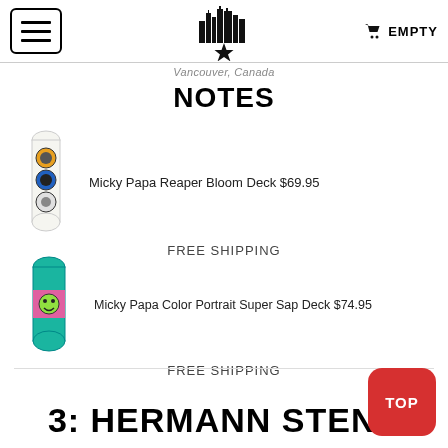Vancouver, Canada — EMPTY
NOTES
Micky Papa Reaper Bloom Deck $69.95 — FREE SHIPPING
Micky Papa Color Portrait Super Sap Deck $74.95 — FREE SHIPPING
3: HERMANN STENE